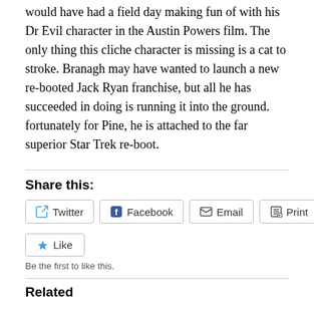Branagh, as the villain, looks like something Mike Myers would have had a field day making fun of with his Dr Evil character in the Austin Powers film. The only thing this cliche character is missing is a cat to stroke. Branagh may have wanted to launch a new re-booted Jack Ryan franchise, but all he has succeeded in doing is running it into the ground. fortunately for Pine, he is attached to the far superior Star Trek re-boot.
Share this:
Twitter  Facebook  Email  Print
Like
Be the first to like this.
Related